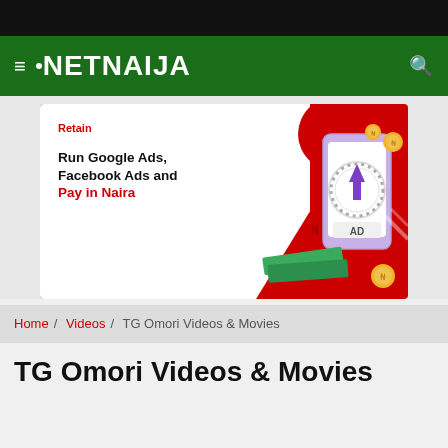NETNAIJA
[Figure (illustration): Advertisement banner: 'Run Google Ads, Facebook Ads and Pay in Naira' with red and white background, smartphone showing an AD graphic, coins, and money illustrations. 'Retain' label in red at top left.]
Home / Videos / TG Omori Videos & Movies
TG Omori Videos & Movies